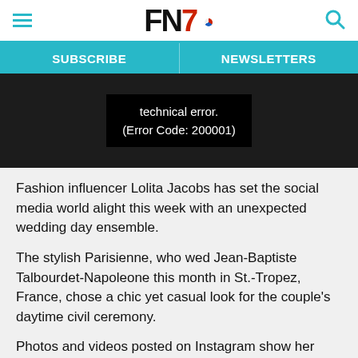FN7 (Footwear News logo)
SUBSCRIBE   NEWSLETTERS
[Figure (screenshot): Video player showing error message: technical error. (Error Code: 200001)]
Fashion influencer Lolita Jacobs has set the social media world alight this week with an unexpected wedding day ensemble.
The stylish Parisienne, who wed Jean-Baptiste Talbourdet-Napoleone this month in St.-Tropez, France, chose a chic yet casual look for the couple’s daytime civil ceremony.
Photos and videos posted on Instagram show her dressed in a crisp white cotton Azzedine Alaia shirtdress that reached to midthigh, showing off her